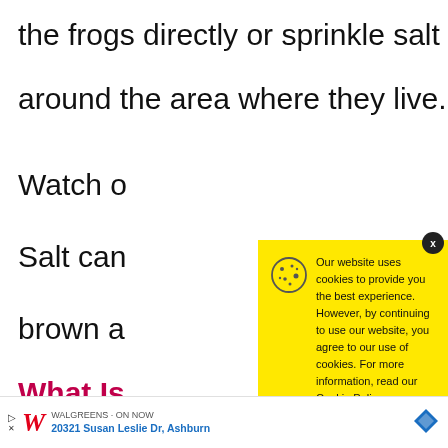the frogs directly or sprinkle salt
around the area where they live.
Watch o
Salt can
brown a
What Is
The loud
Our website uses cookies to provide you the best experience. However, by continuing to use our website, you agree to our use of cookies. For more information, read our Cookie Policy.
Accept
20321 Susan Leslie Dr, Ashburn